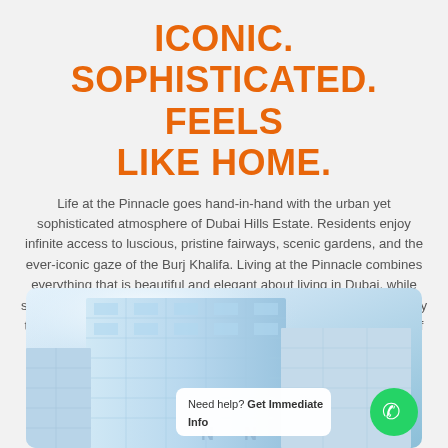ICONIC. SOPHISTICATED. FEELS LIKE HOME.
Life at the Pinnacle goes hand-in-hand with the urban yet sophisticated atmosphere of Dubai Hills Estate. Residents enjoy infinite access to luscious, pristine fairways, scenic gardens, and the ever-iconic gaze of the Burj Khalifa. Living at the Pinnacle combines everything that is beautiful and elegant about living in Dubai, while simultaneously delivering quality premium apartments in a community that supports and envisions the lifestyle you deserve. Being a part of the Pinnacle is being part of a vision, which is a sight to behold against the backdrop of the Green Heart of Dubai, Dubai Hills.
[Figure (photo): Exterior photo of the Pinnacle residential building in Dubai Hills Estate, showing a modern apartment tower against a blue sky, with a WhatsApp chat bubble overlay reading 'Need help? Get Immediate Info' and a green WhatsApp icon button.]